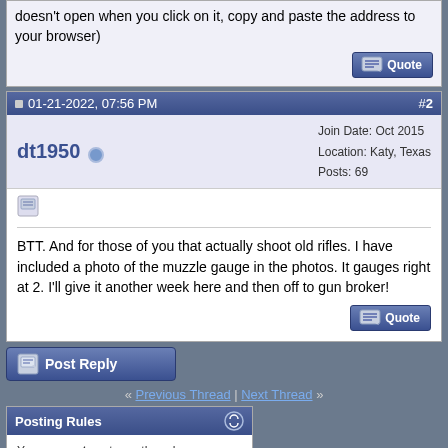(if the link doesn't open when you click on it, copy and paste the address to your browser)
01-21-2022, 07:56 PM  #2
dt1950  Join Date: Oct 2015  Location: Katy, Texas  Posts: 69
BTT. And for those of you that actually shoot old rifles. I have included a photo of the muzzle gauge in the photos. It gauges right at 2. I'll give it another week here and then off to gun broker!
Post Reply
« Previous Thread | Next Thread »
Posting Rules
You may not post new threads
You may not post replies
You may not post attachments
You may not edit your posts